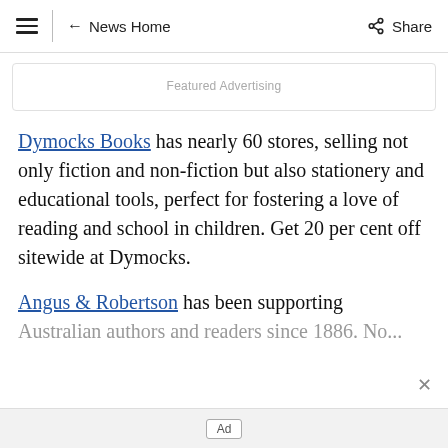≡ ← News Home  Share
Featured Advertising
Dymocks Books has nearly 60 stores, selling not only fiction and non-fiction but also stationery and educational tools, perfect for fostering a love of reading and school in children. Get 20 per cent off sitewide at Dymocks.
Angus & Robertson has been supporting Australian authors and readers since 1886. No...
Ad